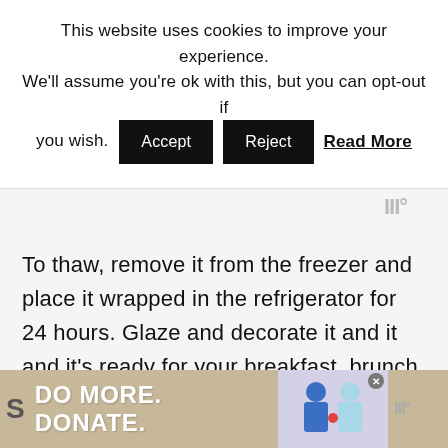This website uses cookies to improve your experience. We'll assume you're ok with this, but you can opt-out if you wish. Accept Reject Read More
[Figure (screenshot): Gray background panel area with website logo watermark (III°) in upper right]
To thaw, remove it from the freezer and place it wrapped in the refrigerator for 24 hours. Glaze and decorate it and it and it's ready for your breakfast, brunch, or holiday party.
[Figure (screenshot): Advertisement banner: DO MORE. DONATE. with illustrated figures of two people and a close button (X)]